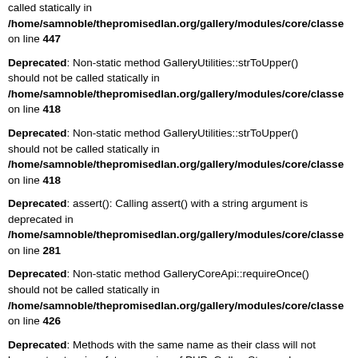called statically in /home/samnoble/thepromisedlan.org/gallery/modules/core/classe on line 447
Deprecated: Non-static method GalleryUtilities::strToUpper() should not be called statically in /home/samnoble/thepromisedlan.org/gallery/modules/core/classe on line 418
Deprecated: Non-static method GalleryUtilities::strToUpper() should not be called statically in /home/samnoble/thepromisedlan.org/gallery/modules/core/classe on line 418
Deprecated: assert(): Calling assert() with a string argument is deprecated in /home/samnoble/thepromisedlan.org/gallery/modules/core/classe on line 281
Deprecated: Non-static method GalleryCoreApi::requireOnce() should not be called statically in /home/samnoble/thepromisedlan.org/gallery/modules/core/classe on line 426
Deprecated: Methods with the same name as their class will not be constructors in a future version of PHP; GalleryStorage has a